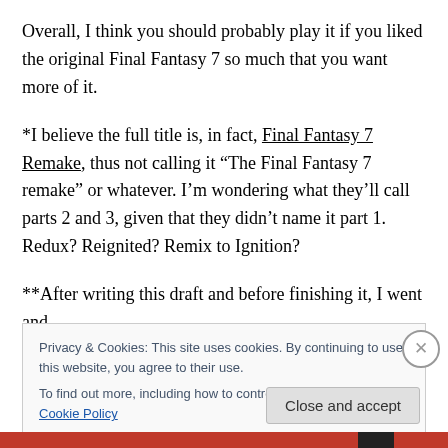Overall, I think you should probably play it if you liked the original Final Fantasy 7 so much that you want more of it.
*I believe the full title is, in fact, Final Fantasy 7 Remake, thus not calling it “The Final Fantasy 7 remake” or whatever. I’m wondering what they’ll call parts 2 and 3, given that they didn’t name it part 1. Redux? Reignited? Remix to Ignition?
**After writing this draft and before finishing it, I went and
[Figure (screenshot): Cookie consent banner overlay with text: 'Privacy & Cookies: This site uses cookies. By continuing to use this website, you agree to their use. To find out more, including how to control cookies, see here: Cookie Policy'. Has a close (X) button and a 'Close and accept' button.]